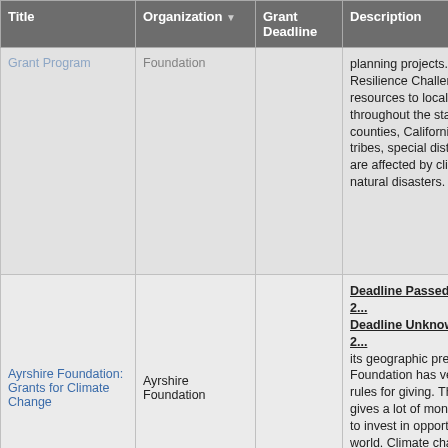| Title | Organization ▼ | Grant Deadline | Description |
| --- | --- | --- | --- |
| Grant Program | Foundation |  | planning projects. The Ca Resilience Challenge wil resources to local comm throughout the state, incl counties, California Nativ tribes, special districts, a are affected by climate ch natural disasters. |
| Ayrshire Foundation: Grants for Climate Change | Ayrshire Foundation |  | Deadline Passed as of 2... Deadline Unknown for 2... its geographic preference Foundation has very few rules for giving. The botto gives a lot of money each to invest in opportunities world. Climate change is of the environmental focu |
|  |  |  | RFP Closed April 2016 ... selected awards will fund focused in the following a Environmental Protecti... |